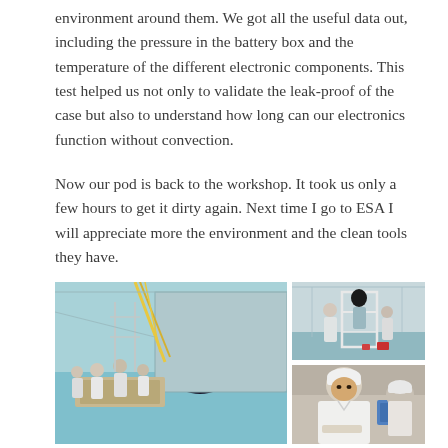environment around them. We got all the useful data out, including the pressure in the battery box and the temperature of the different electronic components. This test helped us not only to validate the leak-proof of the case but also to understand how long can our electronics function without convection.
Now our pod is back to the workshop. It took us only a few hours to get it dirty again. Next time I go to ESA I will appreciate more the environment and the clean tools they have.
[Figure (photo): Large photo on the left showing people in white lab coats working in a clean room with large equipment and a dark circular opening (vacuum chamber or similar). On the right, two smaller photos: top shows personnel in cleanroom suits viewing equipment on a white frame structure; bottom shows a close-up of a person in white lab coat and cap working on equipment.]